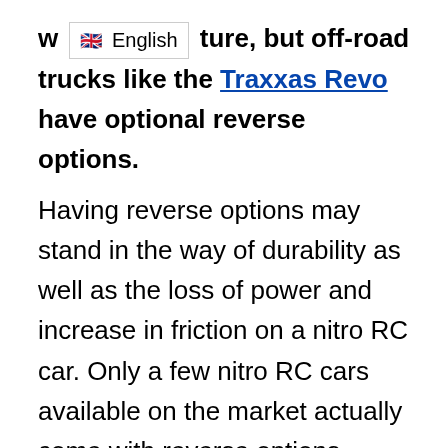w [🇬🇧 English] ture, but off-road trucks like the Traxxas Revo have optional reverse options.
Having reverse options may stand in the way of durability as well as the loss of power and increase in friction on a nitro RC car. Only a few nitro RC cars available on the market actually come with reverse options.
However, in spite of the absence of